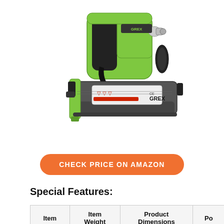[Figure (photo): A green and black Grex brand pneumatic brad nailer / staple gun tool with air fitting connector, shown at an angle against a white background.]
CHECK PRICE ON AMAZON
Special Features:
| Item | Item Weight | Product Dimensions | Po... |
| --- | --- | --- | --- |